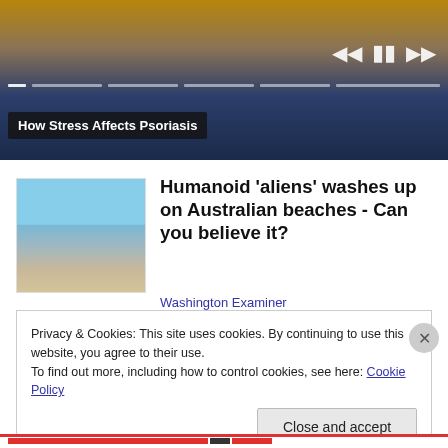[Figure (screenshot): Video player showing a person in a yellow jacket, with playback controls (skip back, pause, skip forward) and a progress bar. Title overlay reads 'How Stress Affects Psoriasis'.]
How Stress Affects Psoriasis
[Figure (photo): Beach scene thumbnail with blue sky, ocean waves, and sandy shore.]
Humanoid 'aliens' washes up on Australian beaches - Can you believe it?
Washington Examiner
Privacy & Cookies: This site uses cookies. By continuing to use this website, you agree to their use.
To find out more, including how to control cookies, see here: Cookie Policy
Close and accept